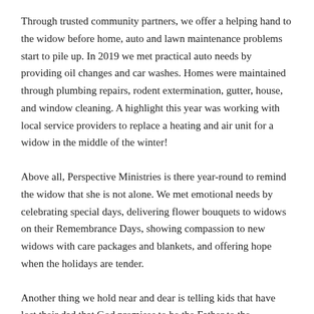Through trusted community partners, we offer a helping hand to the widow before home, auto and lawn maintenance problems start to pile up. In 2019 we met practical auto needs by providing oil changes and car washes. Homes were maintained through plumbing repairs, rodent extermination, gutter, house, and window cleaning. A highlight this year was working with local service providers to replace a heating and air unit for a widow in the middle of the winter!
Above all, Perspective Ministries is there year-round to remind the widow that she is not alone. We met emotional needs by celebrating special days, delivering flower bouquets to widows on their Remembrance Days, showing compassion to new widows with care packages and blankets, and offering hope when the holidays are tender.
Another thing we hold near and dear is telling kids that have lost their dad that God promises to be the Father to the fatherless. We sent teens to camp,